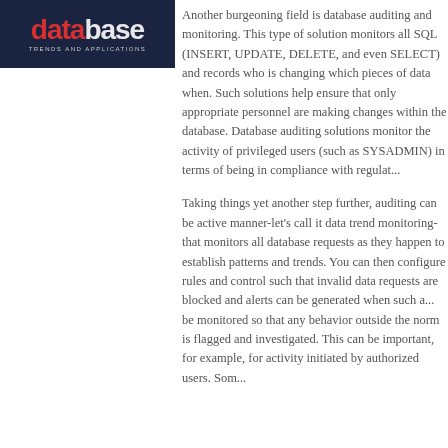[Figure (logo): Database Trends and Applications logo on dark navy background with red accent on 'data' letters]
Another burgeoning field is database auditing and monitoring. This type of solution monitors all SQL (INSERT, UPDATE, DELETE, and even SELECT) and records who is changing which pieces of data when. Such solutions help ensure that only appropriate personnel are making changes within the database. Database auditing solutions monitor the activity of privileged users (such as SYSADMIN) in terms of being in compliance with regulations.
Taking things yet another step further, auditing can be active manner-let's call it data trend monitoring-that monitors all database requests as they happen to establish patterns and trends. You can then configure rules and control such that invalid data requests are blocked and alerts can be generated when such a... be monitored so that any behavior outside the norm is flagged and investigated. This can be important, for example, for activity initiated by authorized users. Som...